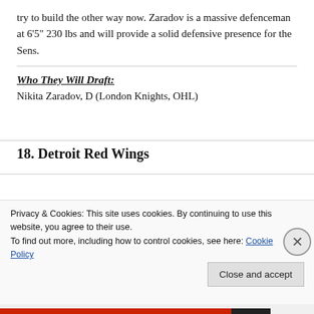try to build the other way now. Zaradov is a massive defenceman at 6‘5” 230 lbs and will provide a solid defensive presence for the Sens.
Who They Will Draft:
Nikita Zaradov, D (London Knights, OHL)
18. Detroit Red Wings
Privacy & Cookies: This site uses cookies. By continuing to use this website, you agree to their use.
To find out more, including how to control cookies, see here: Cookie Policy
Close and accept